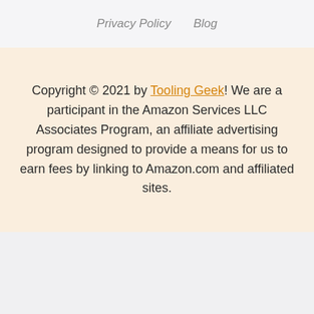Privacy Policy   Blog
Copyright © 2021 by Tooling Geek! We are a participant in the Amazon Services LLC Associates Program, an affiliate advertising program designed to provide a means for us to earn fees by linking to Amazon.com and affiliated sites.